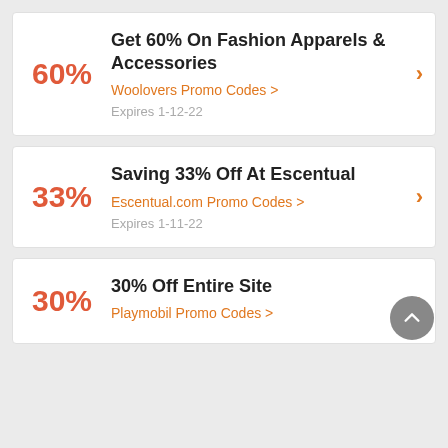60% Get 60% On Fashion Apparels & Accessories | Woolovers Promo Codes > | Expires 1-12-22
33% Saving 33% Off At Escentual | Escentual.com Promo Codes > | Expires 1-11-22
30% 30% Off Entire Site | Playmobil Promo Codes >